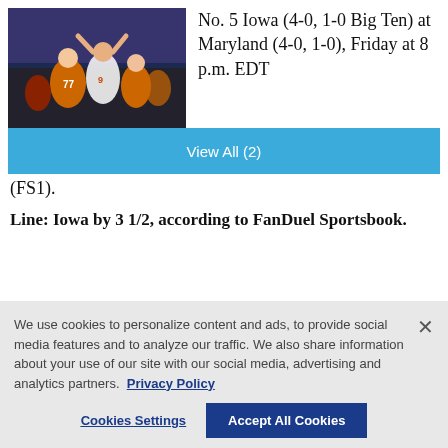[Figure (photo): Football players celebrating on field, orange and dark uniforms]
View All (2)
No. 5 Iowa (4-0, 1-0 Big Ten) at Maryland (4-0, 1-0), Friday at 8 p.m. EDT (FS1).
Line: Iowa by 3 1/2, according to FanDuel Sportsbook.
We use cookies to personalize content and ads, to provide social media features and to analyze our traffic. We also share information about your use of our site with our social media, advertising and analytics partners. Privacy Policy
Cookies Settings
Accept All Cookies